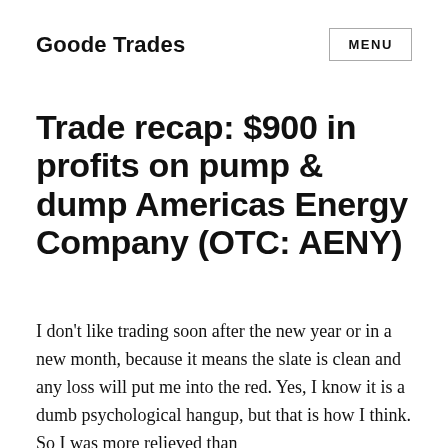Goode Trades
Trade recap: $900 in profits on pump & dump Americas Energy Company (OTC: AENY)
I don't like trading soon after the new year or in a new month, because it means the slate is clean and any loss will put me into the red. Yes, I know it is a dumb psychological hangup, but that is how I think. So I was more relieved than